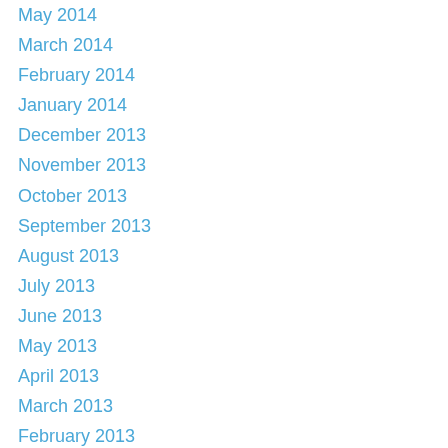May 2014
March 2014
February 2014
January 2014
December 2013
November 2013
October 2013
September 2013
August 2013
July 2013
June 2013
May 2013
April 2013
March 2013
February 2013
January 2013
December 2012
November 2012
October 2012
September 2012